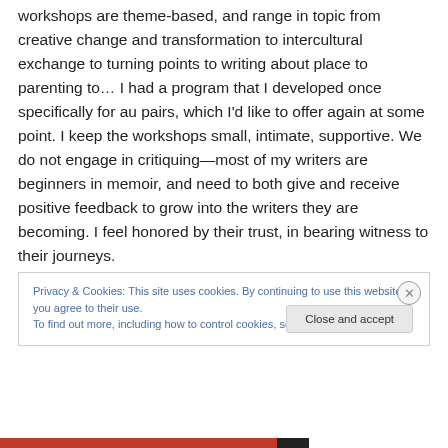workshops are theme-based, and range in topic from creative change and transformation to intercultural exchange to turning points to writing about place to parenting to… I had a program that I developed once specifically for au pairs, which I'd like to offer again at some point. I keep the workshops small, intimate, supportive. We do not engage in critiquing—most of my writers are beginners in memoir, and need to both give and receive positive feedback to grow into the writers they are becoming. I feel honored by their trust, in bearing witness to their journeys.
Privacy & Cookies: This site uses cookies. By continuing to use this website, you agree to their use. To find out more, including how to control cookies, see here: Cookie Policy